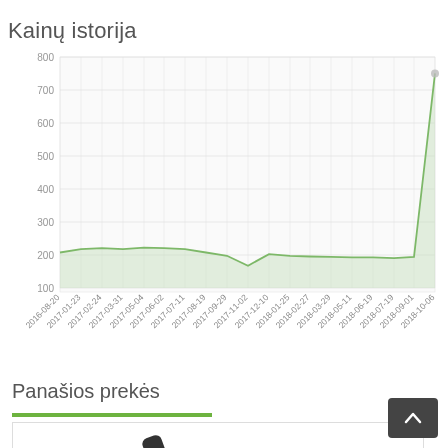Kainų istorija
[Figure (line-chart): Kainų istorija]
Panašios prekės
[Figure (photo): A desk telephone (VoIP/office phone), black, shown in the product listing section.]